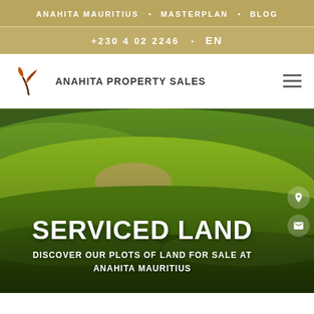ANAHITA MAURITIUS • MASTERPLAN • BLOG
+230 402 2246 • EN
ANAHITA PROPERTY SALES
[Figure (photo): Aerial/ground view of lush green golf course landscape with rolling hills and bright green grass under natural light]
SERVICED LAND
DISCOVER OUR PLOTS OF LAND FOR SALE AT ANAHITA MAURITIUS